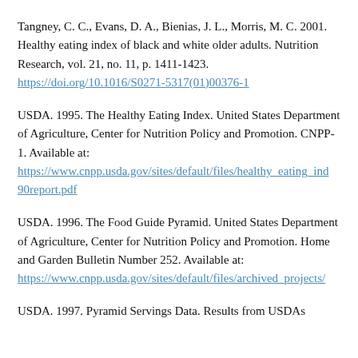Tangney, C. C., Evans, D. A., Bienias, J. L., Morris, M. C. 2001. Healthy eating index of black and white older adults. Nutrition Research, vol. 21, no. 11, p. 1411-1423. https://doi.org/10.1016/S0271-5317(01)00376-1
USDA. 1995. The Healthy Eating Index. United States Department of Agriculture, Center for Nutrition Policy and Promotion. CNPP-1. Available at: https://www.cnpp.usda.gov/sites/default/files/healthy_eating_ind90report.pdf
USDA. 1996. The Food Guide Pyramid. United States Department of Agriculture, Center for Nutrition Policy and Promotion. Home and Garden Bulletin Number 252. Available at: https://www.cnpp.usda.gov/sites/default/files/archived_projects/
USDA. 1997. Pyramid Servings Data. Results from USDAs